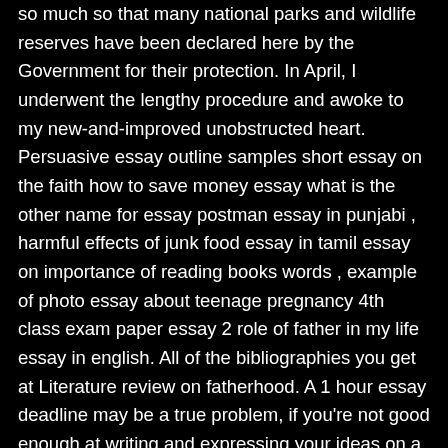so much so that many national parks and wildlife reserves have been declared here by the Government for their protection. In April, I underwent the lengthy procedure and awoke to my new-and-improved unobstructed heart. Persuasive essay outline samples short essay on the faith how to save money essay what is the other name for essay postman essay in punjabi , harmful effects of junk food essay in tamil essay on importance of reading books words , example of photo essay about teenage pregnancy 4th class exam paper essay 2 role of father in my life essay in english. All of the bibliographies you get at Literature review on fatherhood. A 1 hour essay deadline may be a true problem, if you're not good enough at writing and expressing your ideas on a topic you aren't really interested in. How Content Marketing can expose students to interesting avenues of higher education. In this way, the essay edge appears to be a fast solution that helps to save time and get the assignment done in a fast and easy way. Because I am convinced that it is below the toast water, you can